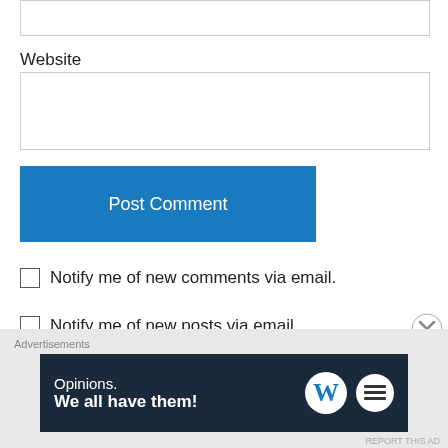Website
[Figure (screenshot): Empty text input box for Website field]
[Figure (screenshot): Blue 'Post Comment' button]
Notify me of new comments via email.
Notify me of new posts via email.
Grandma J on June 16, 2012 at 8:57 am
[Figure (screenshot): Advertisement banner: Opinions. We all have them! with WordPress and another logo]
Advertisements